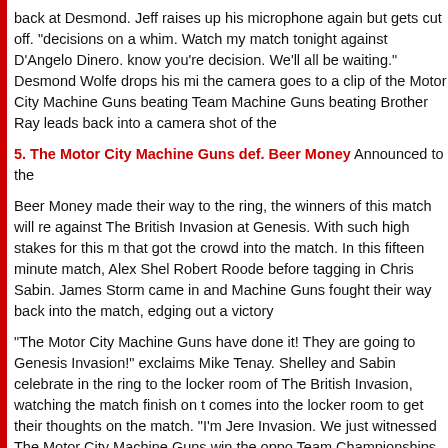back at Desmond. Jeff raises up his microphone again but gets cut off. "decisions on a whim. Watch my match tonight against D'Angelo Dinero. know you're decision. We'll all be waiting." Desmond Wolfe drops his mi the camera goes to a clip of the Motor City Machine Guns beating Team Machine Guns beating Brother Ray leads back into a camera shot of the
5. The Motor City Machine Guns def. Beer Money
Announced to the Beer Money made their way to the ring, the winners of this match will re against The British Invasion at Genesis. With such high stakes for this m that got the crowd into the match. In this fifteen minute match, Alex She Robert Roode before tagging in Chris Sabin. James Storm came in and Machine Guns fought their way back into the match, edging out a victor
"The Motor City Machine Guns have done it! They are going to Genesis Invasion!" exclaims Mike Tenay. Shelley and Sabin celebrate in the ring to the locker room of The British Invasion, watching the match finish on comes into the locker room to get their thoughts on the match. "I'm Jere Invasion. We just witnessed The Motor City Machine Guns win the oppo Team Championships at Genesis. Any thoughts?" Doug Williams looks laughs before patting Rob Terry on the shoulder. Without any words exc towers over Jeremy Borash, who stumbles back. Rob slowly walks forwa exits the locker room, and slams the door shut in his face. Jeremy Boras hear laughter coming out from behind the door.
As the camera follows Jeremy Borash walking away from the door, The the hall. The three of the girls are arguing about something that can't rea gets closer to them. "That disgusting pig last week, ugh!" groans Lacey Madison Rayne. "It's okay, I heard we we're one of the most viewed part